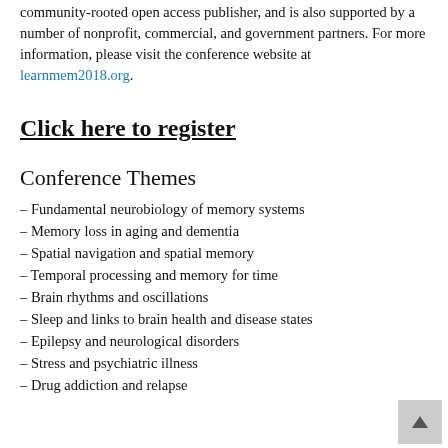community-rooted open access publisher, and is also supported by a number of nonprofit, commercial, and government partners. For more information, please visit the conference website at learnmem2018.org.
Click here to register
Conference Themes
– Fundamental neurobiology of memory systems
– Memory loss in aging and dementia
– Spatial navigation and spatial memory
– Temporal processing and memory for time
– Brain rhythms and oscillations
– Sleep and links to brain health and disease states
– Epilepsy and neurological disorders
– Stress and psychiatric illness
– Drug addiction and relapse